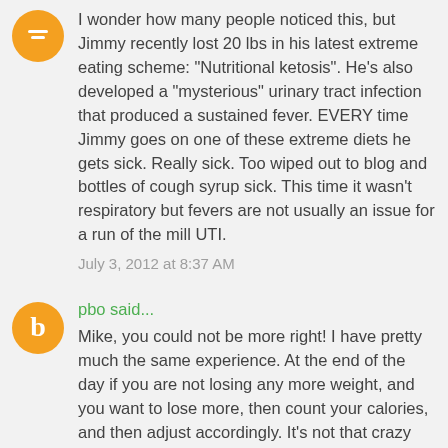I wonder how many people noticed this, but Jimmy recently lost 20 lbs in his latest extreme eating scheme: "Nutritional ketosis". He's also developed a "mysterious" urinary tract infection that produced a sustained fever. EVERY time Jimmy goes on one of these extreme diets he gets sick. Really sick. Too wiped out to blog and bottles of cough syrup sick. This time it wasn't respiratory but fevers are not usually an issue for a run of the mill UTI.
July 3, 2012 at 8:37 AM
pbo said...
Mike, you could not be more right! I have pretty much the same experience. At the end of the day if you are not losing any more weight, and you want to lose more, then count your calories, and then adjust accordingly. It's not that crazy and not that big of deal to accept that calories matter. I guess people want a simple answer or slogan for their diet. Carbs are evil, or eat as much as you want, but dont